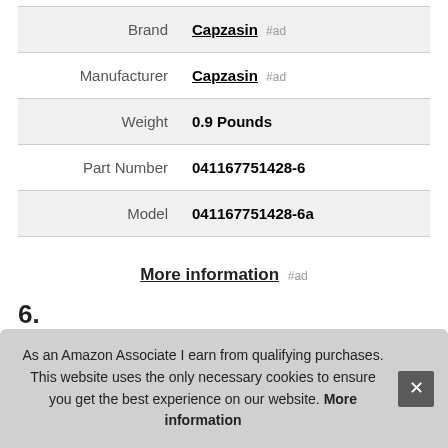| Brand | Capzasin #ad |
| Manufacturer | Capzasin #ad |
| Weight | 0.9 Pounds |
| Part Number | 041167751428-6 |
| Model | 041167751428-6a |
More information #ad
6.
#ad
As an Amazon Associate I earn from qualifying purchases. This website uses the only necessary cookies to ensure you get the best experience on our website. More information